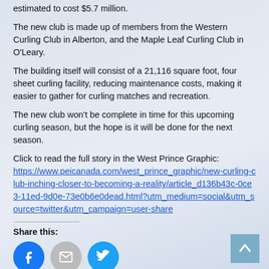estimated to cost $5.7 million.
The new club is made up of members from the Western Curling Club in Alberton, and the Maple Leaf Curling Club in O'Leary.
The building itself will consist of a 21,116 square foot, four sheet curling facility, reducing maintenance costs, making it easier to gather for curling matches and recreation.
The new club won't be complete in time for this upcoming curling season, but the hope is it will be done for the next season.
Click to read the full story in the West Prince Graphic: https://www.peicanada.com/west_prince_graphic/new-curling-club-inching-closer-to-becoming-a-reality/article_d136b43c-0ce3-11ed-9d0e-73e0b6e0dead.html?utm_medium=social&utm_source=twitter&utm_campaign=user-share
Share this:
[Figure (other): Social share buttons: Facebook (blue circle), Email (grey circle), Twitter (teal circle)]